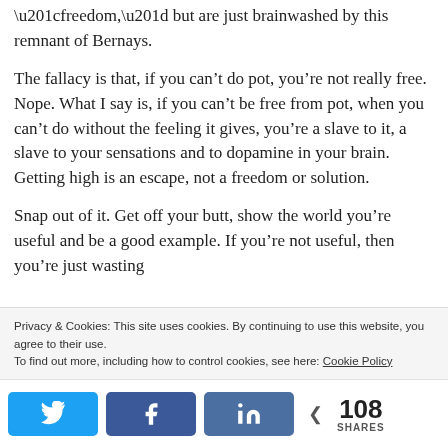“freedom,” but are just brainwashed by this remnant of Bernays.
The fallacy is that, if you can’t do pot, you’re not really free. Nope. What I say is, if you can’t be free from pot, when you can’t do without the feeling it gives, you’re a slave to it, a slave to your sensations and to dopamine in your brain. Getting high is an escape, not a freedom or solution.
Snap out of it. Get off your butt, show the world you’re useful and be a good example. If you’re not useful, then you’re just wasting
Privacy & Cookies: This site uses cookies. By continuing to use this website, you agree to their use.
To find out more, including how to control cookies, see here: Cookie Policy